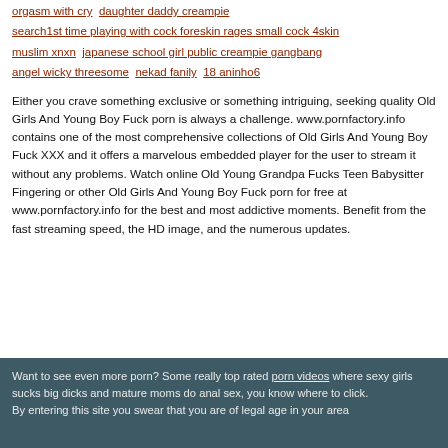orgasm with cry   daughter daddy creampie
search1st time playing with cock foreskin rages small cock 4skin
muslim xnxn   japanese school girl public creampie gangbang
angel wicky threesome   nekad fanily   18 aninho6
Either you crave something exclusive or something intriguing, seeking quality Old Girls And Young Boy Fuck porn is always a challenge. www.pornfactory.info contains one of the most comprehensive collections of Old Girls And Young Boy Fuck XXX and it offers a marvelous embedded player for the user to stream it without any problems. Watch online Old Young Grandpa Fucks Teen Babysitter Fingering or other Old Girls And Young Boy Fuck porn for free at www.pornfactory.info for the best and most addictive moments. Benefit from the fast streaming speed, the HD image, and the numerous updates.
Want to see even more porn? Some really top rated porn videos where sexy girls sucks big dicks and mature moms do anal sex, you know where to click.
By entering this site you swear that you are of legal age in your area